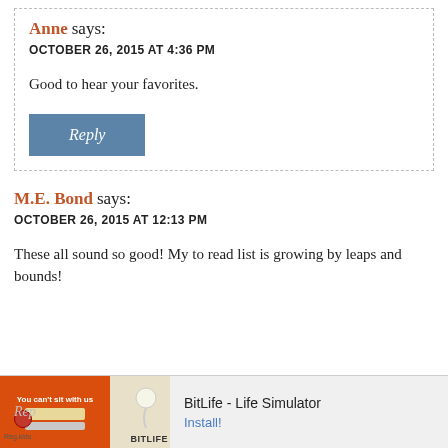Anne says:
OCTOBER 26, 2015 AT 4:36 PM
Good to hear your favorites.
Reply
M.E. Bond says:
OCTOBER 26, 2015 AT 12:13 PM
These all sound so good! My to read list is growing by leaps and bounds!
[Figure (infographic): Advertisement banner for BitLife - Life Simulator app with orange and beige background, showing Ad label, game imagery and Install! button]